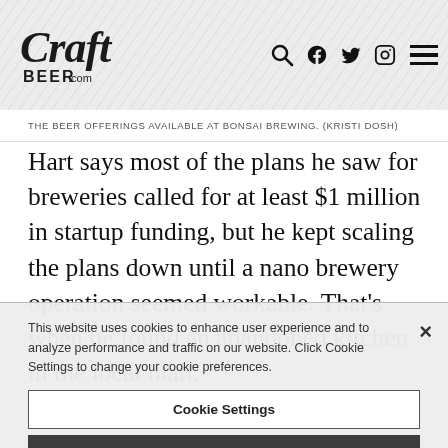[Figure (logo): CraftBeer.com logo with navigation icons (search, Facebook, Twitter, Instagram, hamburger menu)]
THE BEER OFFERINGS AVAILABLE AT BONSAI BREWING. (KRISTI DOSH)
Hart says most of the plans he saw for breweries called for at least $1 million in startup funding, but he kept scaling the plans down until a nano brewery operation seemed workable. That’s when he found an abandoned kitchen in the local mall.
This website uses cookies to enhance user experience and to analyze performance and traffic on our website. Click Cookie Settings to change your cookie preferences.
Cookie Settings
Reject All
Accept All Cookies